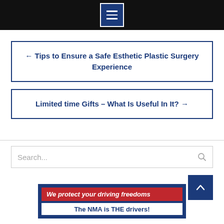[Figure (other): Black top navigation bar with a hamburger menu icon (three white horizontal lines) on a dark blue square with white border]
← Tips to Ensure a Safe Esthetic Plastic Surgery Experience
Limited time Gifts – What Is Useful In It? →
Search...
[Figure (other): Ad banner with dark blue background, red strip reading 'We protect your driving freedoms' in italic white text, and partial text 'The NMA is THE drivers!']